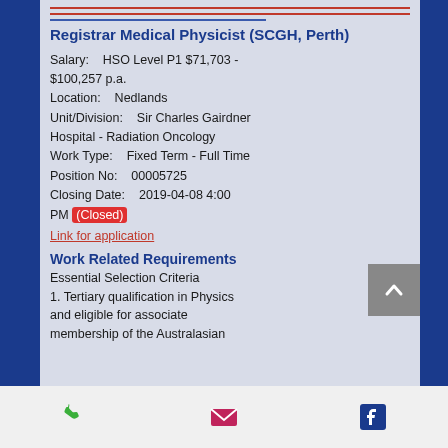Registrar Medical Physicist (SCGH, Perth)
Salary: HSO Level P1 $71,703 - $100,257 p.a.
Location: Nedlands
Unit/Division: Sir Charles Gairdner Hospital - Radiation Oncology
Work Type: Fixed Term - Full Time
Position No: 00005725
Closing Date: 2019-04-08 4:00 PM (Closed)
Link for application
Work Related Requirements
Essential Selection Criteria
1. Tertiary qualification in Physics and eligible for associate membership of the Australasian